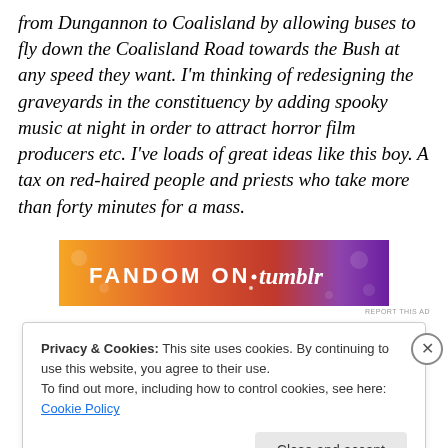from Dungannon to Coalisland by allowing buses to fly down the Coalisland Road towards the Bush at any speed they want. I'm thinking of redesigning the graveyards in the constituency by adding spooky music at night in order to attract horror film producers etc. I've loads of great ideas like this boy. A tax on red-haired people and priests who take more than forty minutes for a mass.
[Figure (other): Advertisement banner: FANDOM ON tumblr — colorful gradient banner with orange to purple gradient, decorative icons and text.]
REPORT THIS AD
Privacy & Cookies: This site uses cookies. By continuing to use this website, you agree to their use.
To find out more, including how to control cookies, see here: Cookie Policy
Close and accept